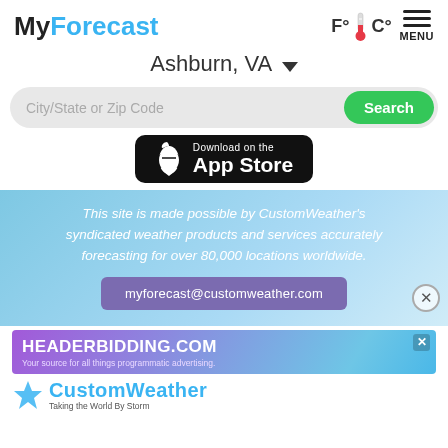MyForecast
Ashburn, VA ▼
City/State or Zip Code — Search
[Figure (screenshot): Download on the App Store badge (black background with Apple logo)]
This site is made possible by CustomWeather's syndicated weather products and services accurately forecasting for over 80,000 locations worldwide.
myforecast@customweather.com
[Figure (screenshot): Advertisement banner: HEADERBIDDING.COM — Your source for all things programmatic advertising.]
[Figure (logo): CustomWeather logo with tagline 'Taking the World By Storm']